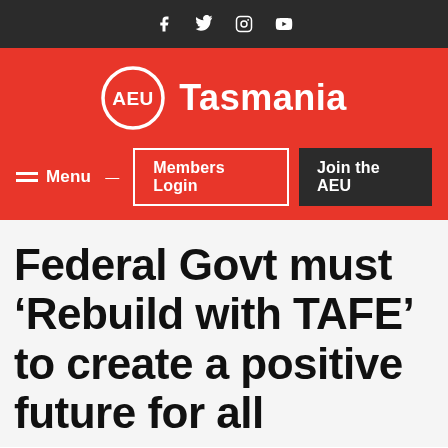f  Twitter  Instagram  YouTube (social media icons)
[Figure (logo): AEU Tasmania logo — white circle with AEU text beside Tasmania wordmark on red background, with Menu, Members Login, and Join the AEU navigation buttons]
Federal Govt must ‘Rebuild with TAFE’ to create a positive future for all